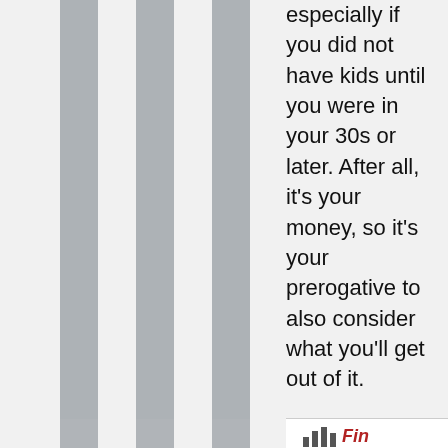especially if you did not have kids until you were in your 30s or later. After all, it's your money, so it's your prerogative to also consider what you'll get out of it.
Reply
[Figure (logo): Financial website logo with chart icon and 'Fin' text in red italic]